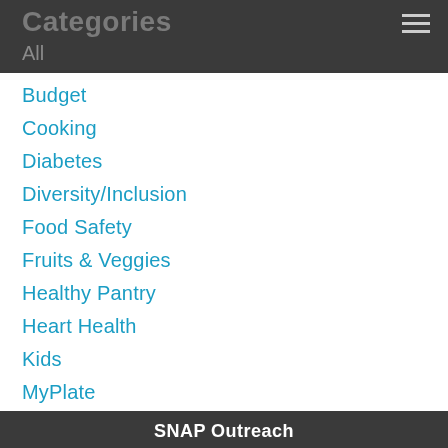Categories
All
Budget
Cooking
Diabetes
Diversity/Inclusion
Food Safety
Fruits & Veggies
Healthy Pantry
Heart Health
Kids
MyPlate
Nutrients
Nutrition Education
Wellness
RSS Feed
SNAP Outreach